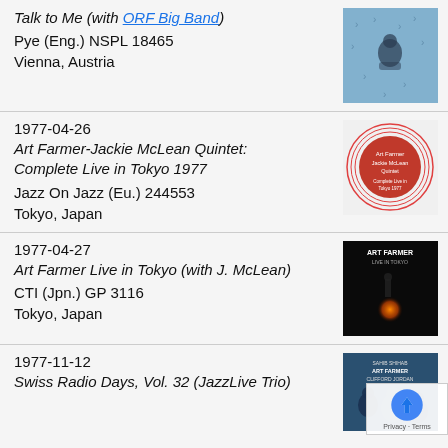Talk to Me (with ORF Big Band)
Pye (Eng.) NSPL 18465
Vienna, Austria
[Figure (photo): Album cover with blue background showing a musician]
1977-04-26
Art Farmer-Jackie McLean Quintet: Complete Live in Tokyo 1977
Jazz On Jazz (Eu.) 244553
Tokyo, Japan
[Figure (photo): Album cover with white background showing a red circle logo for Art Farmer Jackie McLean Quintet]
1977-04-27
Art Farmer Live in Tokyo (with J. McLean)
CTI (Jpn.) GP 3116
Tokyo, Japan
[Figure (photo): Dark album cover with ART FARMER text and orange light]
1977-11-12
Swiss Radio Days, Vol. 32 (JazzLive Trio)
[Figure (photo): Album cover for Swiss Radio Days Vol 32 with JazzLive Trio]